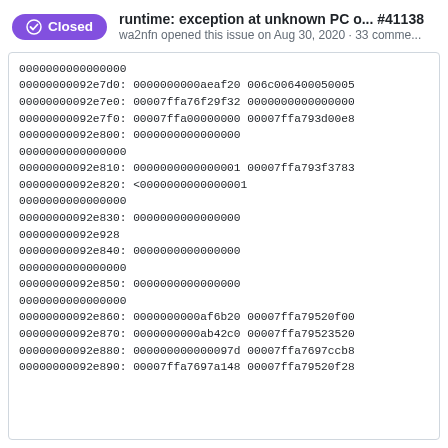runtime: exception at unknown PC o... #41138
wa2nfn opened this issue on Aug 30, 2020 · 33 comme...
0000000000000000
00000000092e7d0: 0000000000aeaf20 006c006400050005
00000000092e7e0: 00007ffa76f29f32 0000000000000000
00000000092e7f0: 00007ffa00000000 00007ffa793d00e8
00000000092e800: 0000000000000000
0000000000000000
00000000092e810: 0000000000000001 00007ffa793f3783
00000000092e820: <0000000000000001
0000000000000000
00000000092e830: 0000000000000000
00000000092e928
00000000092e840: 0000000000000000
0000000000000000
00000000092e850: 0000000000000000
0000000000000000
00000000092e860: 0000000000af6b20 00007ffa79520f00
00000000092e870: 0000000000ab42c0 00007ffa79523520
00000000092e880: 000000000000097d 00007ffa7697ccb8
00000000092e890: 00007ffa7697a148 00007ffa79520f28